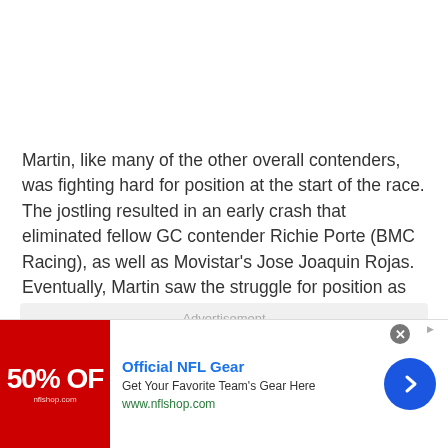Martin, like many of the other overall contenders, was fighting hard for position at the start of the race. The jostling resulted in an early crash that eliminated fellow GC contender Richie Porte (BMC Racing), as well as Movistar's Jose Joaquin Rojas. Eventually, Martin saw the struggle for position as an energy sapping exercise and placed himself towards the back, where he had an easier day of it.
[Figure (other): Advertisement banner for NFL Shop: Official NFL Gear — Get Your Favorite Team's Gear Here, www.nflshop.com, with red banner showing '50% OFF' and a blue circular arrow button]